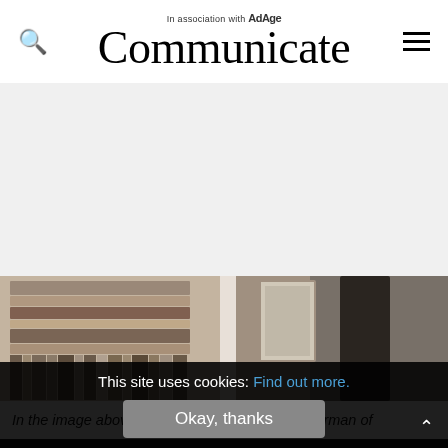In association with AdAge Communicate
[Figure (photo): Blurred/out-of-focus photo showing bookshelves with books stacked horizontally and vertically, and a dark figure on the right side, appearing to be a screenshot from a video call or recorded interview.]
In the image above: Arthur Sadoun, CEO & Chairman of
This site uses cookies: Find out more.
Okay, thanks